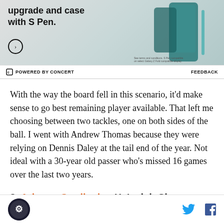[Figure (screenshot): Advertisement banner showing a phone upgrade offer with S Pen, with a teal/dark device image on the right and text on the left. Footer reads 'POWERED BY CONCERT' and 'FEEDBACK'.]
With the way the board fell in this scenario, it'd make sense to go best remaining player available. That left me choosing between two tackles, one on both sides of the ball. I went with Andrew Thomas because they were relying on Dennis Daley at the tail end of the year. Not ideal with a 30-year old passer who's missed 16 games over the last two years.
8. Arizona Cardinals - X, Isaiah Simmons, Clemson